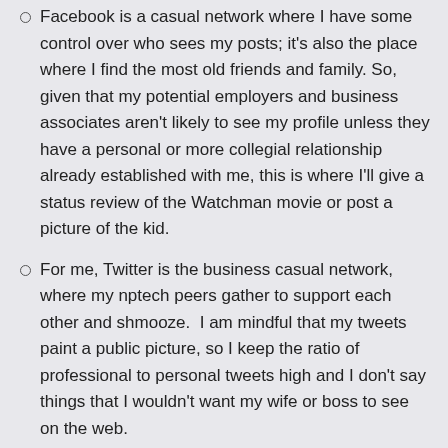Facebook is a casual network where I have some control over who sees my posts; it's also the place where I find the most old friends and family. So, given that my potential employers and business associates aren't likely to see my profile unless they have a personal or more collegial relationship already established with me, this is where I'll give a status review of the Watchman movie or post a picture of the kid.
For me, Twitter is the business casual network, where my nptech peers gather to support each other and shmooze.  I am mindful that my tweets paint a public picture, so I keep the ratio of professional to personal tweets high and I don't say things that I wouldn't want my wife or boss to see on the web.